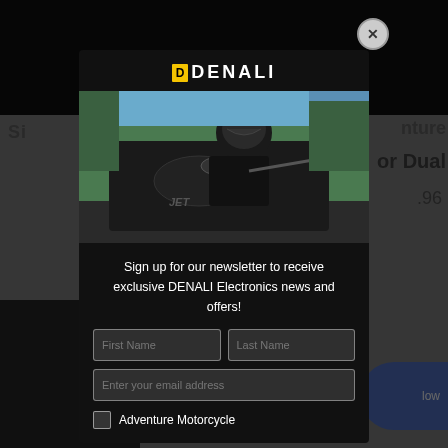[Figure (screenshot): Background webpage showing motorcycle product listing, partially obscured by modal overlay]
[Figure (photo): Modal popup with DENALI Electronics logo, photo of motorcyclist on adventure bike, newsletter signup form with First Name, Last Name, and email fields, and Adventure Motorcycle checkbox option]
Sign up for our newsletter to receive exclusive DENALI Electronics news and offers!
First Name
Last Name
Enter your email address
Adventure Motorcycle